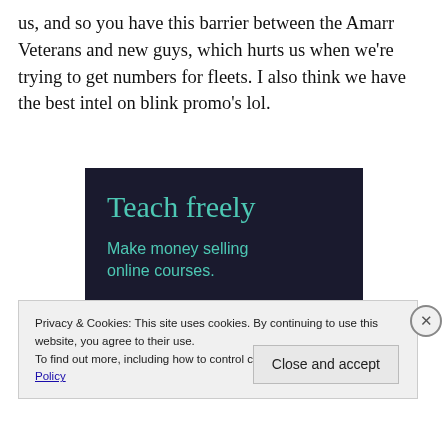us, and so you have this barrier between the Amarr Veterans and new guys, which hurts us when we're trying to get numbers for fleets. I also think we have the best intel on blink promo's lol.
[Figure (other): Advertisement banner with dark navy background. Large teal text reads 'Teach freely'. Below in smaller teal text: 'Make money selling online courses.']
Privacy & Cookies: This site uses cookies. By continuing to use this website, you agree to their use.
To find out more, including how to control cookies, see here: Cookie Policy
Close and accept